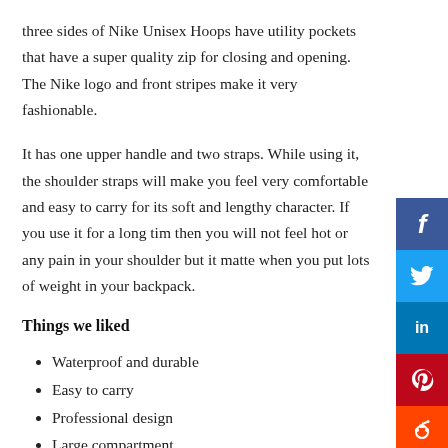three sides of Nike Unisex Hoops have utility pockets that have a super quality zip for closing and opening. The Nike logo and front stripes make it very fashionable.
It has one upper handle and two straps. While using it, the shoulder straps will make you feel very comfortable and easy to carry for its soft and lengthy character. If you use it for a long time then you will not feel hot or any pain in your shoulder but it matters when you put lots of weight in your backpack.
Things we liked
Waterproof and durable
Easy to carry
Professional design
Large compartment
Reasonable price with lightweight
Good ventilated front plexus pocket